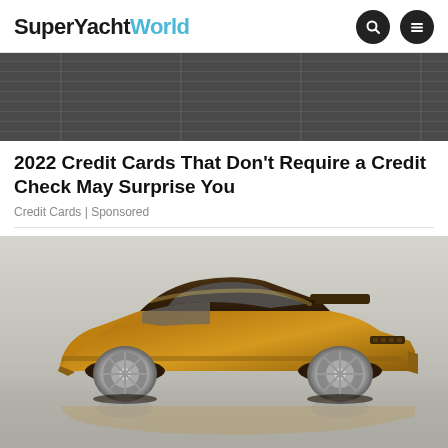SuperYachtWorld
[Figure (photo): Stacked bundles of cash/currency notes photographed from above, dark tones]
2022 Credit Cards That Don't Require a Credit Check May Surprise You
Credit Cards | Sponsored
[Figure (photo): Gold/bronze metallic toy car (Hot Wheels style classic muscle car / Ford Mustang) on a reflective surface against a light grey background]